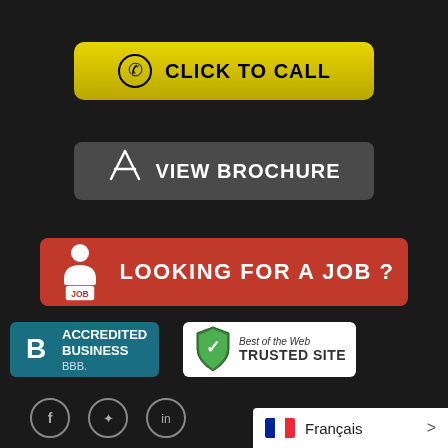[Figure (infographic): Yellow 'Click to Call' button with phone icon]
[Figure (infographic): Dark grey 'View Brochure' button with PDF/Acrobat icon]
[Figure (infographic): Red 'Looking for a Job?' button with person/job icon]
[Figure (logo): BBB Accredited Business badge (teal background)]
[Figure (logo): Best of the Web Trusted Site badge (white background with green shield)]
[Figure (infographic): Social media icons row: Facebook, Twitter, LinkedIn (partially visible)]
[Figure (infographic): Language selector popup showing French flag and 'Français' text with arrow]